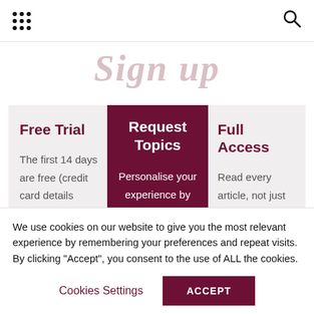Navigation bar with grid menu icon and search icon
Sign up
| Free Trial | Request Topics | Full Access |
| --- | --- | --- |
| The first 14 days are free (credit card details required). Cancel... | Personalise your experience by | Read every article, not just the most recent |
We use cookies on our website to give you the most relevant experience by remembering your preferences and repeat visits. By clicking “Accept”, you consent to the use of ALL the cookies.
Cookies Settings
ACCEPT